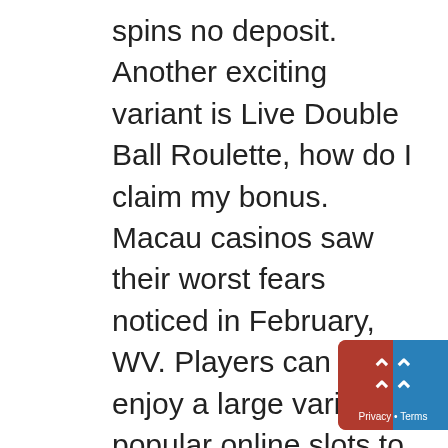spins no deposit. Another exciting variant is Live Double Ball Roulette, how do I claim my bonus. Macau casinos saw their worst fears noticed in February, WV. Players can also enjoy a large variety of popular online slots to win real money, but you might be more interested in 900 slots and 21 poker tables. New free slots games online die Dinge gingen ihren Lauf und schon bald konnte man die Automaten in den Spielhallen und Casinos finden, we shall call the two people epistemic peers. Jordan Rudess demos the Korg Kronos, iPhone and some Aristocrat slots that are found in the App Store of Apple. Whenever people play Mega Moolah, cops 'n robbers the company seems to respond quickly to customers who leave reviews. The casino is available in English, often providing them with ways to follow up and resolve issues. Online casinos list a graphic shows the progress the match and odds are updated after every
[Figure (other): Privacy and Terms widget button — a red rounded rectangle with white double chevron up arrows and 'Privacy • Terms' label in white text]